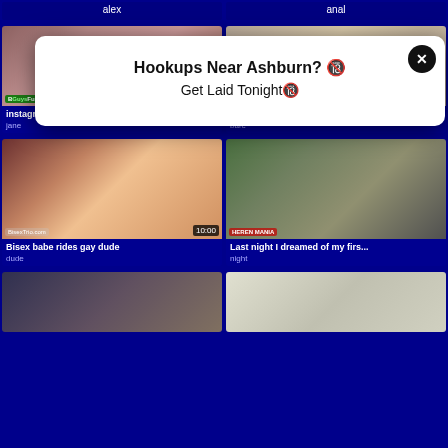alex
anal
[Figure (screenshot): Video thumbnail with duration 35:00, watermark BiGuysFuck]
instagram: @rrtomg - Bisex, Sean Costi...
jane
[Figure (screenshot): Video thumbnail - Instagram @rrtomg Bi bare...]
Instagram: @rrtomg - Bi bare...
bare
[Figure (screenshot): Video thumbnail with duration 10:00, watermark BisexTrio.com - Bisex babe rides gay dude]
Bisex babe rides gay dude
dude
[Figure (screenshot): Video thumbnail - Last night I dreamed of my firs...]
Last night I dreamed of my firs...
night
[Figure (screenshot): Popup modal: Hookups Near Ashburn? Get Laid Tonight]
[Figure (screenshot): Bottom row video thumbnails]
Hookups Near Ashburn? 🔞 Get Laid Tonight🔞